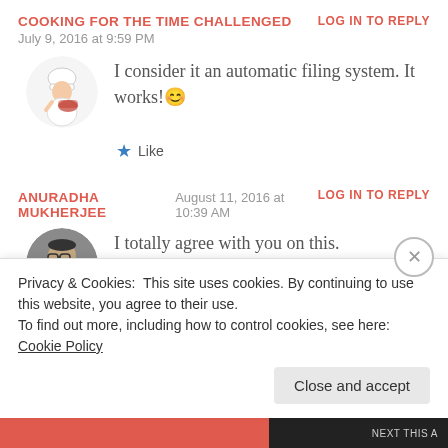COOKING FOR THE TIME CHALLENGED
July 9, 2016 at 9:59 PM
LOG IN TO REPLY
I consider it an automatic filing system. It works! 😊
★ Like
ANURADHA MUKHERJEE
August 11, 2016 at 10:39 AM
LOG IN TO REPLY
I totally agree with you on this.
Privacy & Cookies: This site uses cookies. By continuing to use this website, you agree to their use.
To find out more, including how to control cookies, see here: Cookie Policy
Close and accept